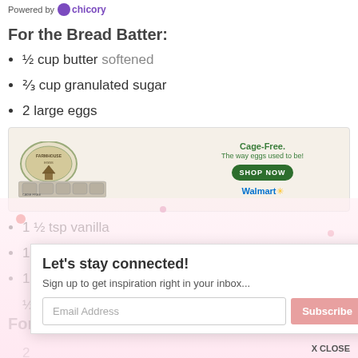Powered by Chicory
For the Bread Batter:
½ cup butter softened
⅔ cup granulated sugar
2 large eggs
[Figure (other): Advertisement for Farmhouse Eggs cage-free eggs at Walmart with egg carton image, green SHOP NOW button]
1 ½ tsp vanilla
1½ cups all-purpose flour
1¾ tsp baking powder
½ cup milk
For t...
2...
Let's stay connected!
Sign up to get inspiration right in your inbox...
Email Address
Subscribe
X CLOSE